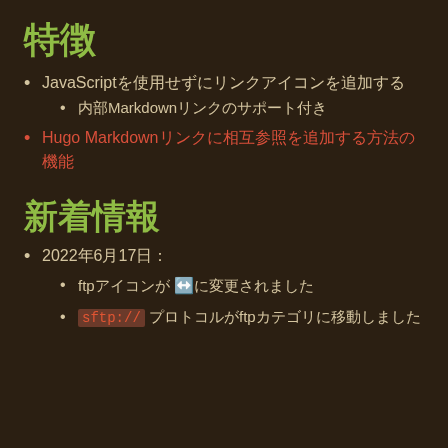特徴
JavaScriptを使用せずにリンクアイコンを追加する
内部Markdownリンクのサポート付き
Hugo Markdownリンクに相互参照を追加する方法の機能
新着情報
2022年6月17日：
ftpアイコンが 🔄 に変更されました
sftp:// プロトコルがftpカテゴリに移動しました